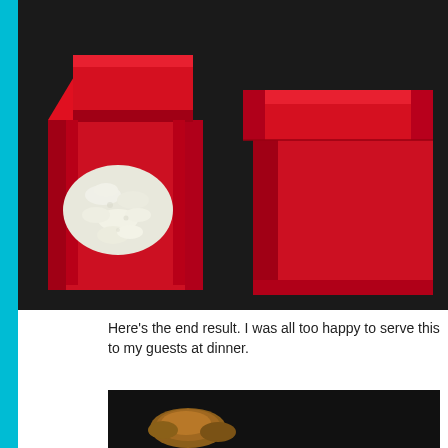[Figure (photo): Two side-by-side photos of red gift boxes on a dark background. Left photo shows an open red box containing white packing peanuts or rice. Right photo shows a closed red box.]
Here's the end result. I was all too happy to serve this to my guests at dinner.
[Figure (photo): Bottom partial photo showing food items on a dark background, partially cropped.]